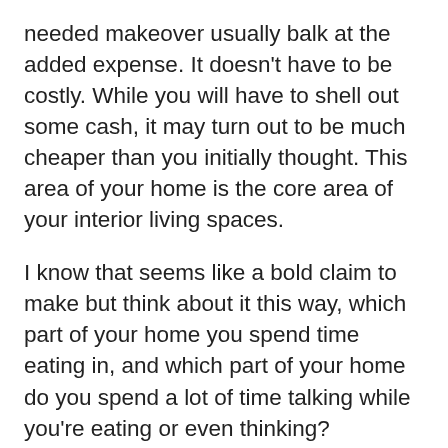needed makeover usually balk at the added expense. It doesn't have to be costly. While you will have to shell out some cash, it may turn out to be much cheaper than you initially thought. This area of your home is the core area of your interior living spaces.
I know that seems like a bold claim to make but think about it this way, which part of your home you spend time eating in, and which part of your home do you spend a lot of time talking while you're eating or even thinking?
This area is your kitchen, and it has a tremendous impact on the overall enjoyment of your home's interior space. You need to give it the attention that it deserves since this is the area of your home that is